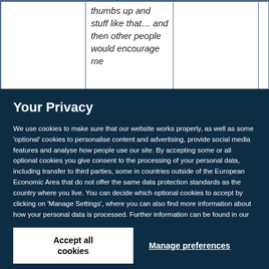| thumbs up and stuff like that… and then other people would encourage me |  |  |
Your Privacy
We use cookies to make sure that our website works properly, as well as some 'optional' cookies to personalise content and advertising, provide social media features and analyse how people use our site. By accepting some or all optional cookies you give consent to the processing of your personal data, including transfer to third parties, some in countries outside of the European Economic Area that do not offer the same data protection standards as the country where you live. You can decide which optional cookies to accept by clicking on 'Manage Settings', where you can also find more information about how your personal data is processed. Further information can be found in our privacy policy.
Accept all cookies
Manage preferences